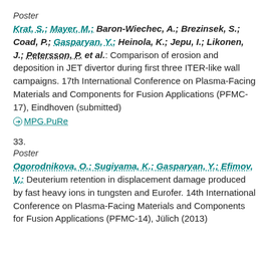Poster
Krat, S.; Mayer, M.; Baron-Wiechec, A.; Brezinsek, S.; Coad, P.; Gasparyan, Y.; Heinola, K.; Jepu, I.; Likonen, J.; Petersson, P. et al.: Comparison of erosion and deposition in JET divertor during first three ITER-like wall campaigns. 17th International Conference on Plasma-Facing Materials and Components for Fusion Applications (PFMC-17), Eindhoven (submitted)
MPG.PuRe
33.
Poster
Ogorodnikova, O.; Sugiyama, K.; Gasparyan, Y.; Efimov, V.: Deuterium retention in displacement damage produced by fast heavy ions in tungsten and Eurofer. 14th International Conference on Plasma-Facing Materials and Components for Fusion Applications (PFMC-14), Jülich (2013)